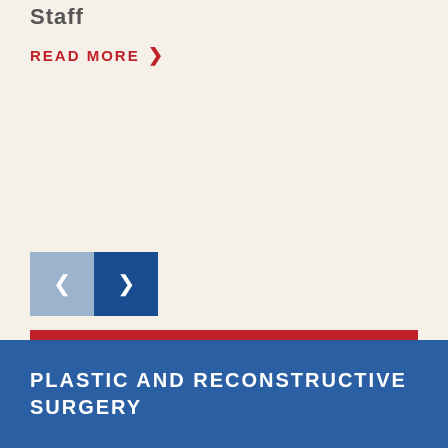Staff
READ MORE ❯
[Figure (other): Navigation carousel buttons: left arrow (light blue) and right arrow (dark blue)]
VIEW ALL PLASTIC AND RECONSTRUCTIVE SURGERY STORIES
PLASTIC AND RECONSTRUCTIVE SURGERY